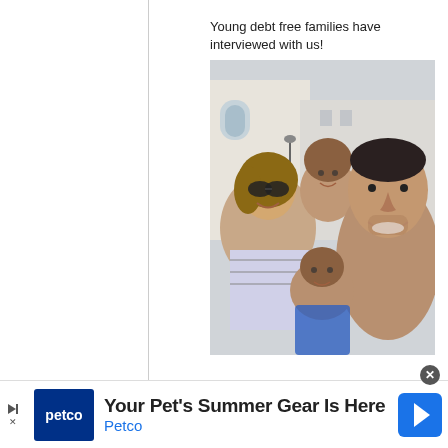Young debt free families have interviewed with us!
[Figure (photo): Family selfie photo showing a woman with sunglasses, a man smiling, and two boys, taken outdoors in front of classical architecture buildings]
Your Pet's Summer Gear Is Here
Petco